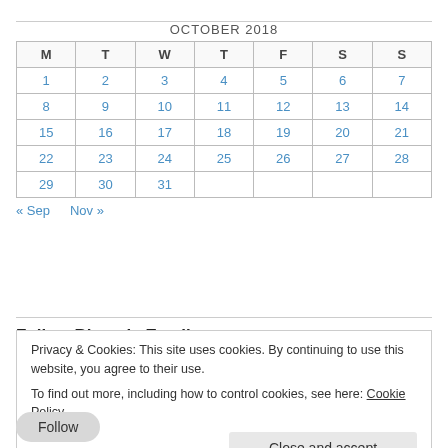| M | T | W | T | F | S | S |
| --- | --- | --- | --- | --- | --- | --- |
| 1 | 2 | 3 | 4 | 5 | 6 | 7 |
| 8 | 9 | 10 | 11 | 12 | 13 | 14 |
| 15 | 16 | 17 | 18 | 19 | 20 | 21 |
| 22 | 23 | 24 | 25 | 26 | 27 | 28 |
| 29 | 30 | 31 |  |  |  |  |
« Sep   Nov »
Follow Blog via Email
Privacy & Cookies: This site uses cookies. By continuing to use this website, you agree to their use.
To find out more, including how to control cookies, see here: Cookie Policy
Close and accept
Follow